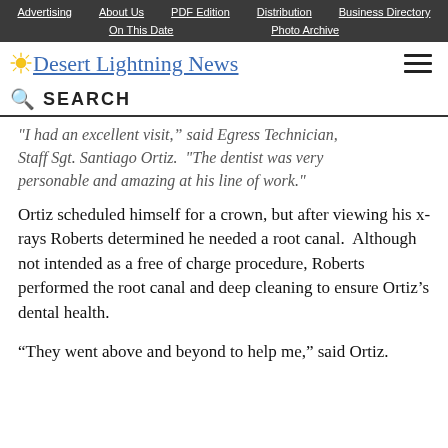Advertising | About Us | PDF Edition | Distribution | Business Directory | On This Date | Photo Archive
Desert Lightning News
SEARCH
"I had an excellent visit," said Egress Technician, Staff Sgt. Santiago Ortiz.  "The dentist was very personable and amazing at his line of work."
Ortiz scheduled himself for a crown, but after viewing his x-rays Roberts determined he needed a root canal.  Although not intended as a free of charge procedure, Roberts performed the root canal and deep cleaning to ensure Ortiz's dental health.
"They went above and beyond to help me," said Ortiz.